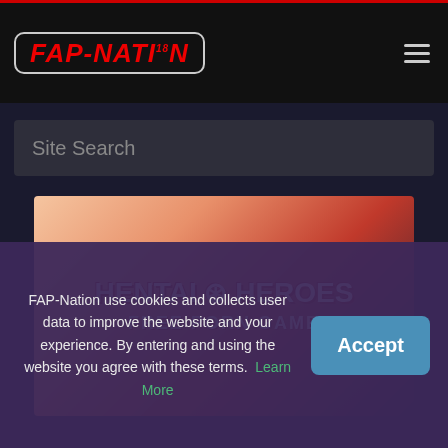FAP-NATION 18
Site Search
[Figure (illustration): Hentai Heroes Free Porn Game banner advertisement with anime character]
FAP-Nation use cookies and collects user data to improve the website and your experience. By entering and using the website you agree with these terms. Learn More